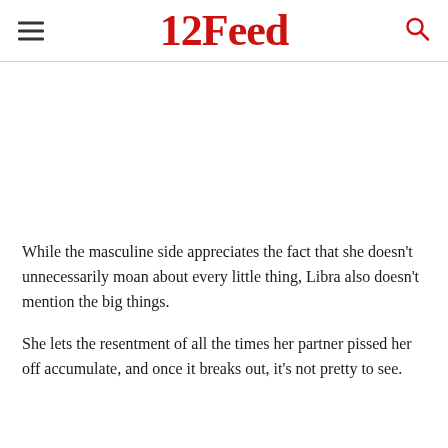12Feed
[Figure (other): Advertisement / blank space area]
While the masculine side appreciates the fact that she doesn't unnecessarily moan about every little thing, Libra also doesn't mention the big things.
She lets the resentment of all the times her partner pissed her off accumulate, and once it breaks out, it's not pretty to see.